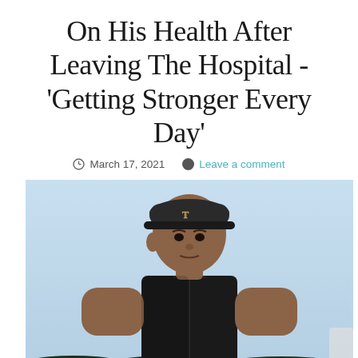On His Health After Leaving The Hospital - 'Getting Stronger Every Day'
March 17, 2021   Leave a comment
[Figure (photo): Tiger Woods wearing a black vest and black cap, standing outdoors with a light blue sky background and some dark trees/foliage visible at the bottom.]